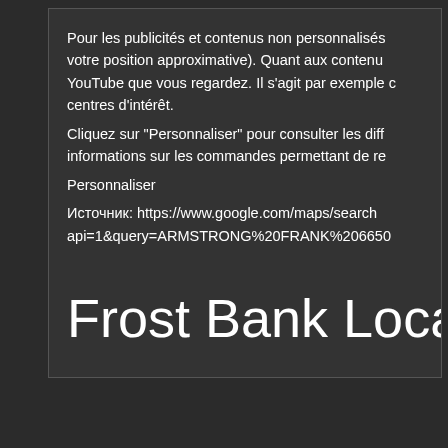Pour les publicités et contenus non personnalisés votre position approximative). Quant aux contenu YouTube que vous regardez. Il s'agit par exemple c centres d'intérêt.
Cliquez sur "Personnaliser" pour consulter les diff informations sur les commandes permettant de re
Personnaliser
Источник: https://www.google.com/maps/search api=1&query=ARMSTRONG%20FRANK%206650
Frost Bank Locat